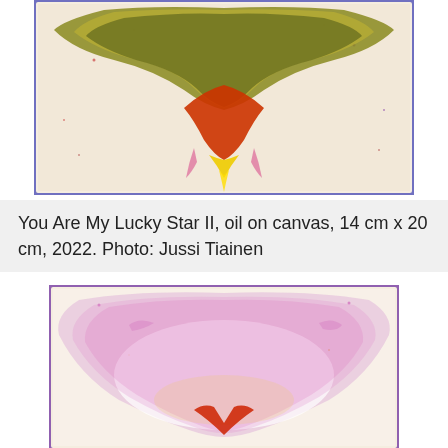[Figure (photo): Painting on canvas showing an abstract olive-green and yellow shape resembling a bat or spread wings at the top, with a red arch and pink/yellow drips at the bottom center, on a cream background with small colored speckles, framed with a purple-blue border.]
You Are My Lucky Star II, oil on canvas, 14 cm x 20 cm, 2022. Photo: Jussi Tiainen
[Figure (photo): Painting on canvas showing an abstract pinkish-purple and white shape resembling an inverted arch or bowl, with a red V-shape at the bottom center, on a cream/white background with a purple-pink border.]